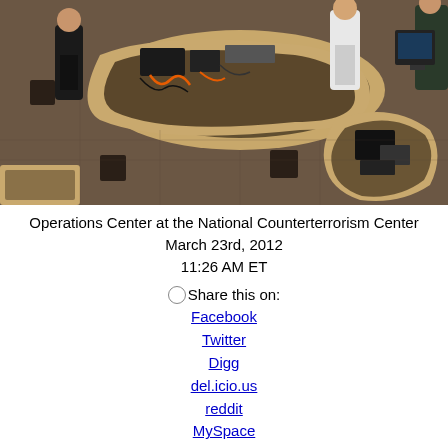[Figure (photo): Aerial/overhead view of the Operations Center at the National Counterterrorism Center, showing people standing around curved wooden desks with computers, cables, and equipment on a tiled floor.]
Operations Center at the National Counterterrorism Center
March 23rd, 2012
11:26 AM ET
Share this on:
Facebook
Twitter
Digg
del.icio.us
reddit
MySpace
StumbleUpon
Counterterrorism center can keep data on Americans for